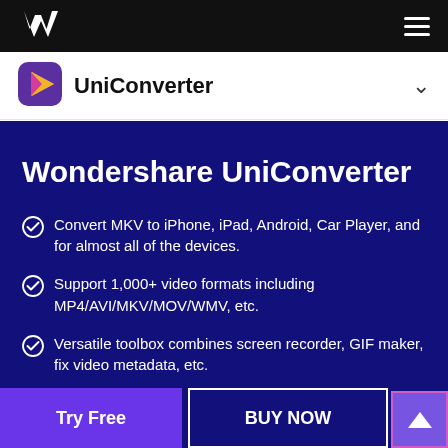Wondershare navigation bar with logo and hamburger menu
[Figure (logo): Wondershare W logo in white on black navigation bar]
[Figure (logo): UniConverter app icon - purple rounded square with play triangle arrow]
UniConverter
Wondershare UniConverter
Convert MKV to iPhone, iPad, Android, Car Player, and for almost all of the devices.
Support 1,000+ video formats including MP4/AVI/MKV/MOV/WMV, etc.
Versatile toolbox combines screen recorder, GIF maker, fix video metadata, etc.
Try Free
BUY NOW